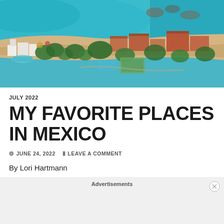[Figure (photo): Aerial view of a Mexican coastal resort with turquoise water, sandy beach, white buildings, terracotta rooftop buildings surrounded by lush green trees and pools]
JULY 2022
MY FAVORITE PLACES IN MEXICO
JUNE 24, 2022   LEAVE A COMMENT
By Lori Hartmann
Advertisements